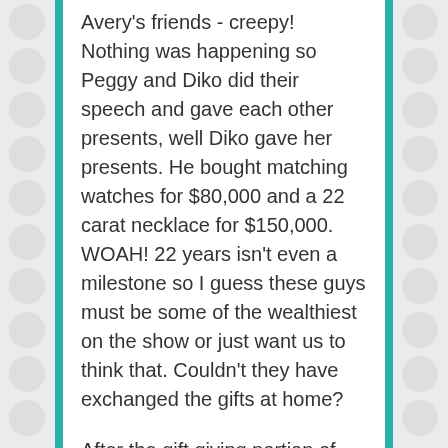Avery's friends - creepy! Nothing was happening so Peggy and Diko did their speech and gave each other presents, well Diko gave her presents. He bought matching watches for $80,000 and a 22 carat necklace for $150,000. WOAH! 22 years isn't even a milestone so I guess these guys must be some of the wealthiest on the show or just want us to think that. Couldn't they have exchanged the gifts at home?
After the gift giving portion of the night was over, Diko asked Shannon about David's comments about Peggy's